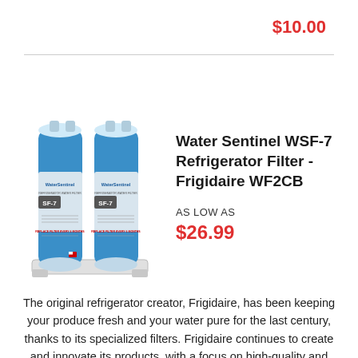$10.00
[Figure (photo): Water Sentinel WSF-7 Refrigerator Filter product image showing a blue and white cylindrical water filter with WaterSentinel branding and WSF-7 label on a mounting bracket]
Water Sentinel WSF-7 Refrigerator Filter - Frigidaire WF2CB
AS LOW AS
$26.99
The original refrigerator creator, Frigidaire, has been keeping your produce fresh and your water pure for the last century, thanks to its specialized filters. Frigidaire continues to create and innovate its products, with a focus on high-quality and